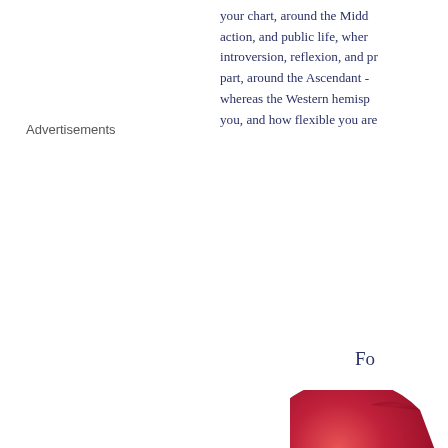your chart, around the Mid... action, and public life, whe... introversion, reflexion, and pr... part, around the Ascendant - whereas the Western hemisp... you, and how flexible you are
Advertisements
Fo
[Figure (pie-chart): Partial pie chart visible, red/crimson slice labeled North-eastern (47.6%)]